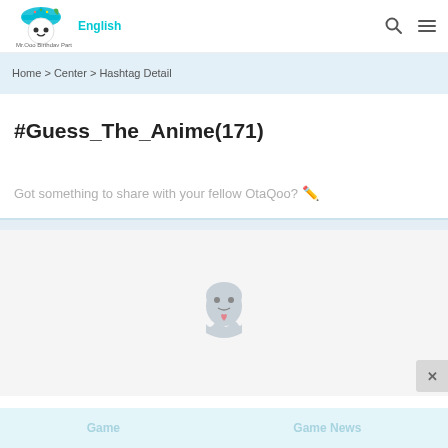QooApp - Mr.Qoo Birthday Party | English
Home > Center > Hashtag Detail
#Guess_The_Anime(171)
Got something to share with your fellow OtaQoo? ✏️
[Figure (illustration): QooApp mascot ghost icon centered in empty content area]
Game | Game News